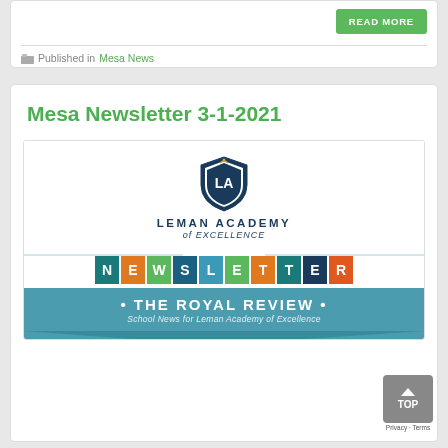[Figure (other): READ MORE green button at top right of first card]
Published in Mesa News
Mesa Newsletter 3-1-2021
[Figure (logo): Leman Academy of Excellence logo with shield emblem, NEWSLETTER colorful letter blocks, and THE ROYAL REVIEW bar with 'School News for Leman Academy of Excellence']